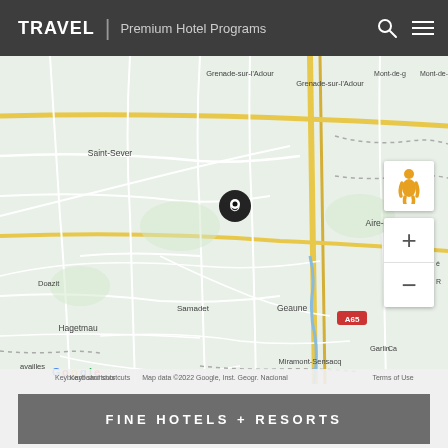TRAVEL | Premium Hotel Programs
[Figure (map): Google Maps view showing a region in southwestern France near Aire-sur-l'Adour, with towns including Saint-Sever, Hagetmau, Samadet, Geaune, Miramont-Sensacq, Garlin, and Doazit. A black location pin is placed in the center. Map controls include a street view person icon and zoom +/- buttons. The map shows road A65. Google logo and attribution text at bottom.]
FINE HOTELS + RESORTS